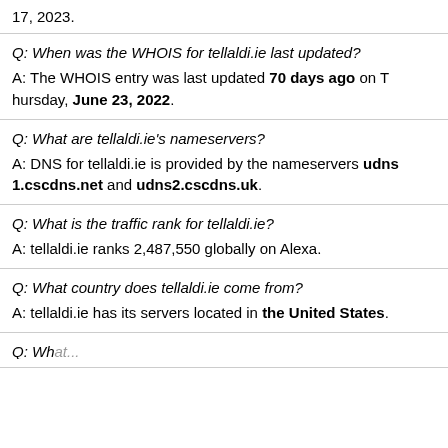17, 2023.
Q: When was the WHOIS for tellaldi.ie last updated?
A: The WHOIS entry was last updated 70 days ago on Thursday, June 23, 2022.
Q: What are tellaldi.ie's nameservers?
A: DNS for tellaldi.ie is provided by the nameservers udns1.cscdns.net and udns2.cscdns.uk.
Q: What is the traffic rank for tellaldi.ie?
A: tellaldi.ie ranks 2,487,550 globally on Alexa.
Q: What country does tellaldi.ie come from?
A: tellaldi.ie has its servers located in the United States.
Q: What...